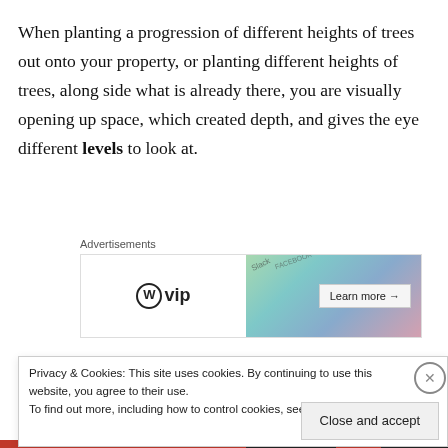When planting a progression of different heights of trees out onto your property, or planting different heights of trees, along side what is already there, you are visually opening up space, which created depth, and gives the eye different levels to look at.
[Figure (other): WordPress VIP advertisement banner with colorful cards showing social media logos and a 'Learn more' button]
Now look at the drawing of the Cape Cod styled house at the top of the illustration. Notice that the ground line flows
Privacy & Cookies: This site uses cookies. By continuing to use this website, you agree to their use.
To find out more, including how to control cookies, see here: Cookie Policy